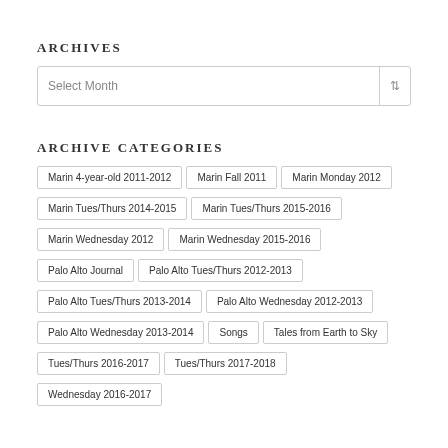ARCHIVES
Select Month
ARCHIVE CATEGORIES
Marin 4-year-old 2011-2012
Marin Fall 2011
Marin Monday 2012
Marin Tues/Thurs 2014-2015
Marin Tues/Thurs 2015-2016
Marin Wednesday 2012
Marin Wednesday 2015-2016
Palo Alto Journal
Palo Alto Tues/Thurs 2012-2013
Palo Alto Tues/Thurs 2013-2014
Palo Alto Wednesday 2012-2013
Palo Alto Wednesday 2013-2014
Songs
Tales from Earth to Sky
Tues/Thurs 2016-2017
Tues/Thurs 2017-2018
Wednesday 2016-2017